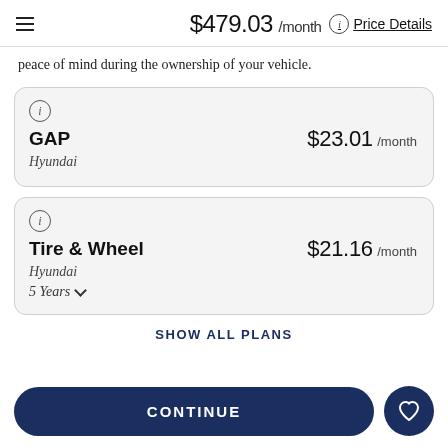$479.03 /month  Price Details
peace of mind during the ownership of your vehicle.
| Plan | Price |
| --- | --- |
| GAP
Hyundai | $23.01 /month |
| Tire & Wheel
Hyundai
5 Years | $21.16 /month |
SHOW ALL PLANS
CONTINUE